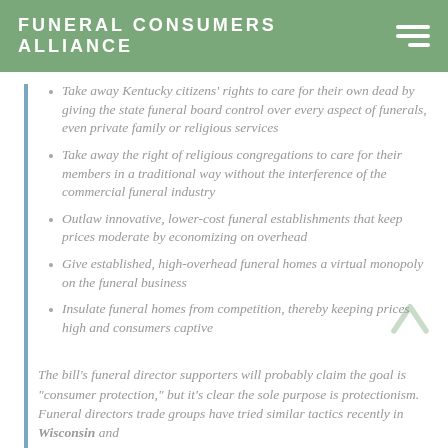FUNERAL CONSUMERS ALLIANCE
Take away Kentucky citizens' rights to care for their own dead by giving the state funeral board control over every aspect of funerals, even private family or religious services
Take away the right of religious congregations to care for their members in a traditional way without the interference of the commercial funeral industry
Outlaw innovative, lower-cost funeral establishments that keep prices moderate by economizing on overhead
Give established, high-overhead funeral homes a virtual monopoly on the funeral business
Insulate funeral homes from competition, thereby keeping prices high and consumers captive
The bill’s funeral director supporters will probably claim the goal is “consumer protection,” but it’s clear the sole purpose is protectionism. Funeral directors trade groups have tried similar tactics recently in Wisconsin and